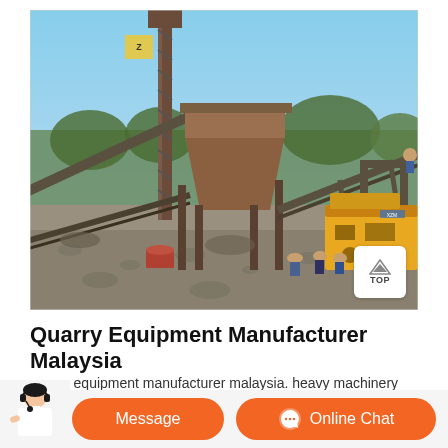[Figure (photo): Outdoor quarry/mining site with large industrial machinery including a tall vertical conveyor/elevator structure, a feed hopper, conveyor belts at angles, and a yellow mobile crusher/generator unit. Workers visible near the yellow machine. Rocky/gravel ground, trees in background.]
Quarry Equipment Manufacturer Malaysia
quarry equipment manufacturer malaysia. heavy machinery industry in